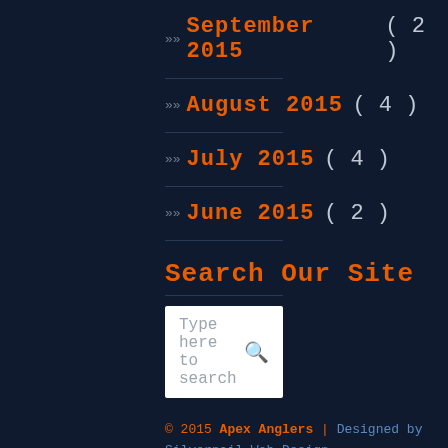September 2015 ( 2 )
August 2015 ( 4 )
July 2015 ( 4 )
June 2015 ( 2 )
Search Our Site
Type here to search
© 2015 Apex Anglers | Designed by Silvernail Web Design
We are 100% family friendly, and there are no drugs or alcohol